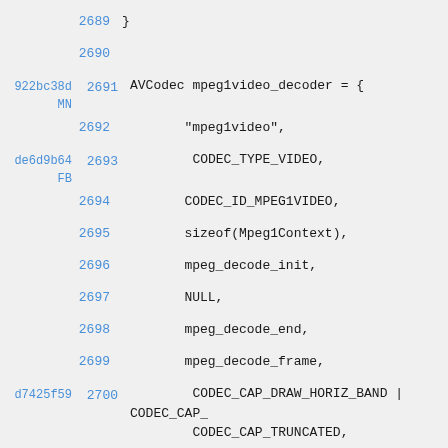Code listing lines 2689-2703 showing AVCodec mpeg1video_decoder definition in C
2689  }
2690  (empty)
922bc38d MN  2691  AVCodec mpeg1video_decoder = {
2692      "mpeg1video",
de6d9b64 FB  2693      CODEC_TYPE_VIDEO,
2694      CODEC_ID_MPEG1VIDEO,
2695      sizeof(Mpeg1Context),
2696      mpeg_decode_init,
2697      NULL,
2698      mpeg_decode_end,
2699      mpeg_decode_frame,
d7425f59  2700      CODEC_CAP_DRAW_HORIZ_BAND | CODEC_CAP_TRUNCATED,
922bc38d MN  2701      .flush= ff_mpeg_flush,
2702  };
2703  (empty)